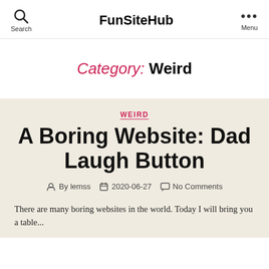FunSiteHub
Category: Weird
WEIRD
A Boring Website: Dad Laugh Button
By lemss  2020-06-27  No Comments
There are many boring websites in the world. Today I will bring you a table...